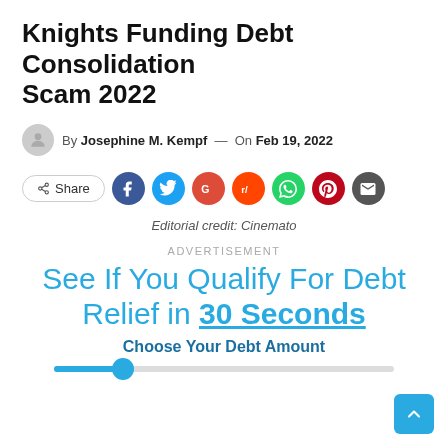Knights Funding Debt Consolidation Scam 2022
By Josephine M. Kempf — On Feb 19, 2022
[Figure (infographic): Social share buttons: Share, Facebook, Twitter, Google, Reddit, WhatsApp, Pinterest, Email]
Editorial credit: Cinemato
ADVERTISEMENT
See If You Qualify For Debt Relief in 30 Seconds
Choose Your Debt Amount